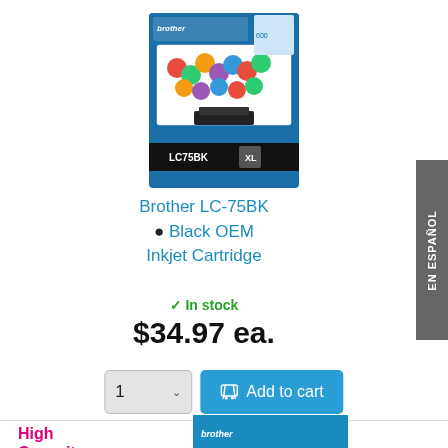[Figure (photo): Brother LC-75BK Black OEM Inkjet Cartridge product box image]
Brother LC-75BK ● Black OEM Inkjet Cartridge
✓ In stock
$34.97 ea.
[Figure (screenshot): Quantity selector showing '1' with dropdown arrow and 'Add to cart' blue button with cart icon]
High Capacity
[Figure (photo): Brother LC75C Cyan OEM Inkjet Cartridge product box image, partially visible at bottom]